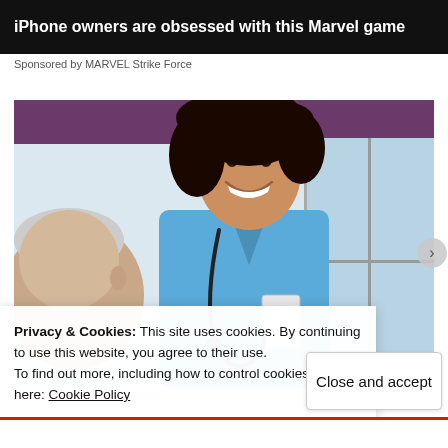[Figure (screenshot): Advertisement banner with dark background reading 'iPhone owners are obsessed with this Marvel game']
Sponsored by MARVEL Strike Force
[Figure (photo): A smiling nurse in blue scrubs with a stethoscope talking to an elderly patient]
Privacy & Cookies: This site uses cookies. By continuing to use this website, you agree to their use.
To find out more, including how to control cookies, see here: Cookie Policy
Close and accept